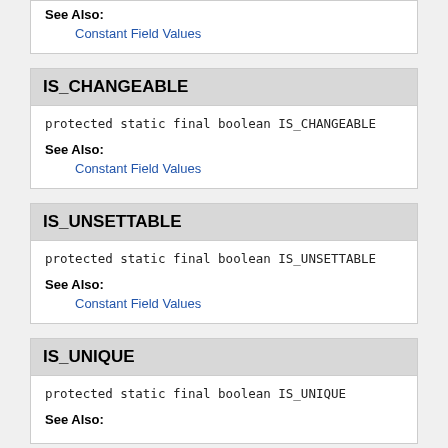See Also:
Constant Field Values
IS_CHANGEABLE
protected static final boolean IS_CHANGEABLE
See Also:
Constant Field Values
IS_UNSETTABLE
protected static final boolean IS_UNSETTABLE
See Also:
Constant Field Values
IS_UNIQUE
protected static final boolean IS_UNIQUE
See Also: